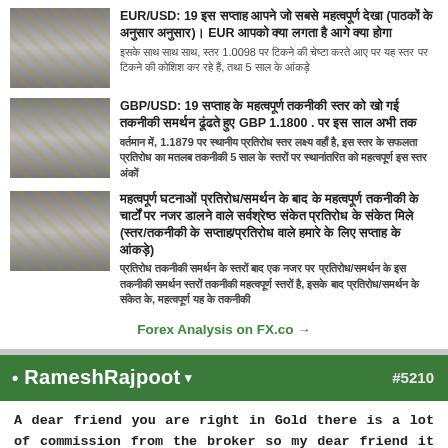EUR/USD: 19 [Hindi text] GBP 1.0098 [Hindi text] 5 [Hindi text]
GBP/USD: 19 [Hindi text] GBP 1.1800 . [Hindi text] 1.1879 [Hindi text] 5 [Hindi text]
[Hindi text]
Forex Analysis on FX.co →
• RameshRajpoot ▾  #5210
A dear friend you are right in Gold there is a lot of commission from the broker so my dear friend it is because gold is very fast movement PR it Move in any direction fastly so broker made hi separated in Forex for the gold because if separate is low then K will be do by the traders and they will get only profit so when broker give you the gold there there Commission are highly so if you want to work on gold you have to good experience of trading because god is very risky and for a moment but it can wash your